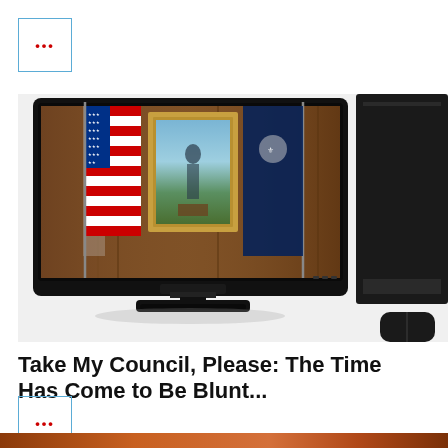[Figure (other): Small square icon box with blue border and red ellipsis dots, top-left corner]
[Figure (photo): A desktop computer monitor displaying a government or council chamber scene with American flag, a state flag, and a framed portrait painting on wood-paneled wall. A desktop tower PC is partially visible to the right.]
Take My Council, Please: The Time Has Come to Be Blunt...
[Figure (other): Small square icon box with blue border and red ellipsis dots, bottom-left area]
[Figure (photo): Bottom strip showing partial image in warm orange/brown tones]